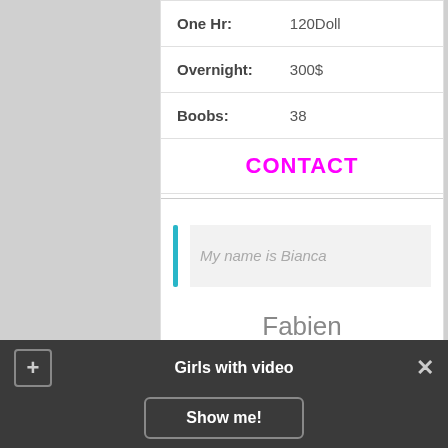| One Hr: | 120Doll |
| Overnight: | 300$ |
| Boobs: | 38 |
CONTACT
My name is Bianca
Fabien
[Figure (photo): Blonde woman photo]
Girls with video
Show me!